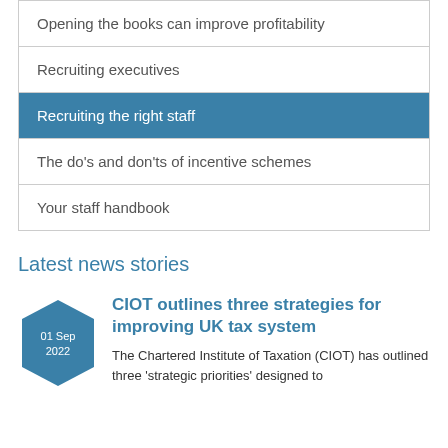Opening the books can improve profitability
Recruiting executives
Recruiting the right staff
The do's and don'ts of incentive schemes
Your staff handbook
Latest news stories
[Figure (infographic): Hexagon date badge showing 01 Sep 2022]
CIOT outlines three strategies for improving UK tax system
The Chartered Institute of Taxation (CIOT) has outlined three 'strategic priorities' designed to